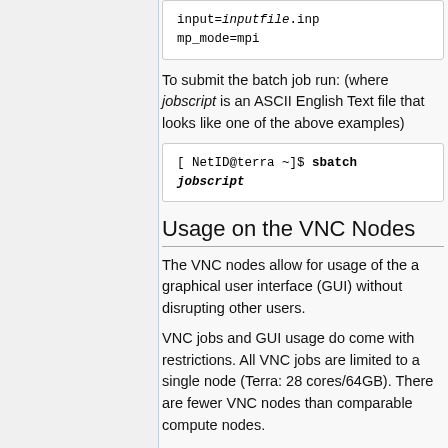input=inputfile.inp
mp_mode=mpi
To submit the batch job run: (where jobscript is an ASCII English Text file that looks like one of the above examples)
[ NetID@terra ~]$ sbatch jobscript
Usage on the VNC Nodes
The VNC nodes allow for usage of the a graphical user interface (GUI) without disrupting other users.
VNC jobs and GUI usage do come with restrictions. All VNC jobs are limited to a single node (Terra: 28 cores/64GB). There are fewer VNC nodes than comparable compute nodes.